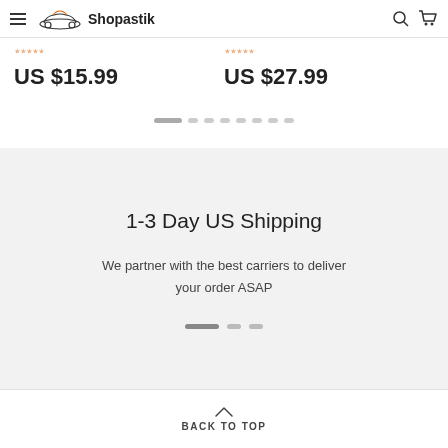Shopastik
US $15.99
US $27.99
1-3 Day US Shipping
We partner with the best carriers to deliver your order ASAP
BACK TO TOP